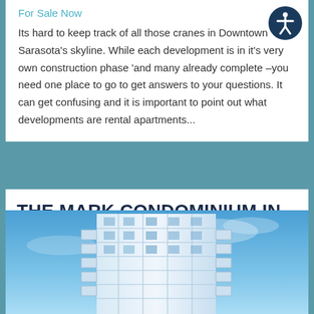For Sale Now
Its hard to keep track of all those cranes in Downtown Sarasota's skyline.  While each development is in it's very own construction phase 'and many already complete –you need one place to go to get answers to your questions.  It can get confusing and it is important to point out what developments are rental apartments...
THE MARK CONDOMINIUM IN DOWNTOWN SARASOTA
[Figure (photo): Photo of The Mark condominium building in Downtown Sarasota, showing a modern white multi-story building with balconies against a blue sky]